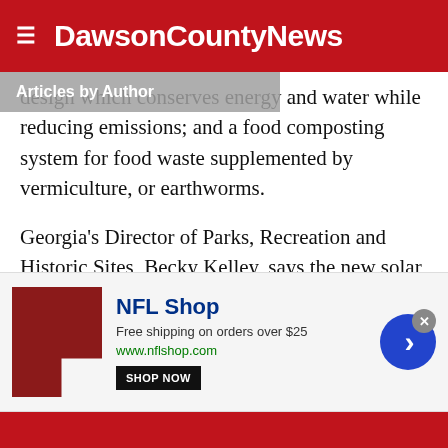DawsonCountyNews
Articles by Author
design which conserves energy and water while reducing emissions; and a food composting system for food waste supplemented by vermiculture, or earthworms.
Georgia’s Director of Parks, Recreation and Historic Sites, Becky Kelley, says the new solar system is a huge leap forward for their mission.
“Georgia State Parks have long appreciated the nonprofit model at the Hike Inn,” said
[Figure (screenshot): NFL Shop advertisement banner with shop now button, free shipping offer, and arrow button]